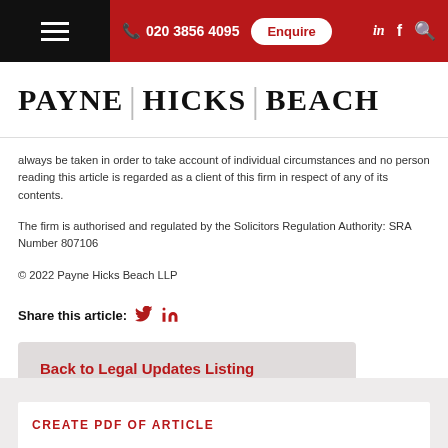020 3856 4095 | Enquire
[Figure (logo): Payne Hicks Beach law firm logo with stylized text]
always be taken in order to take account of individual circumstances and no person reading this article is regarded as a client of this firm in respect of any of its contents.
The firm is authorised and regulated by the Solicitors Regulation Authority: SRA Number 807106
© 2022 Payne Hicks Beach LLP
Share this article:
Back to Legal Updates Listing
CREATE PDF OF ARTICLE